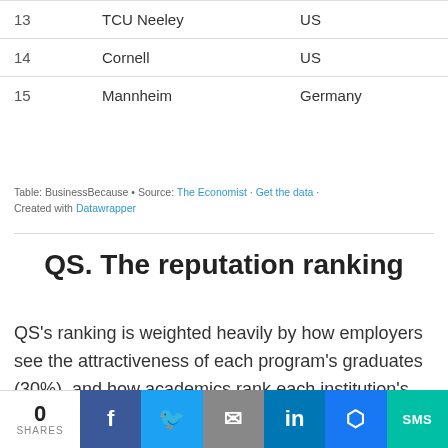| # | School | Country |
| --- | --- | --- |
| 13 | TCU Neeley | US |
| 14 | Cornell | US |
| 15 | Mannheim | Germany |
Table: BusinessBecause • Source: The Economist · Get the data · Created with Datawrapper
QS. The reputation ranking
QS's ranking is weighted heavily by how employers see the attractiveness of each program's graduates (30%), and how academics rank each institution's research credentials (25%), totalling 55% of the
0 SHARES | Facebook | Twitter | Email | LinkedIn | Messenger | SMS